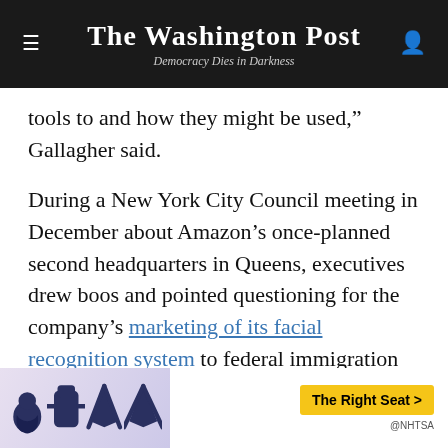The Washington Post
Democracy Dies in Darkness
tools to and how they might be used," Gallagher said.
During a New York City Council meeting in December about Amazon's once-planned second headquarters in Queens, executives drew boos and pointed questioning for the company's marketing of its facial recognition system to federal immigration officials.
Amazon, Palantir and Microsoft have also faced criticism from employees over their work with ICE.
In a letter last year, Amazon workers beseeched Bezos to stop selling the facial recognition software to law
[Figure (other): Advertisement banner for NHTSA The Right Seat campaign with car seat graphics]